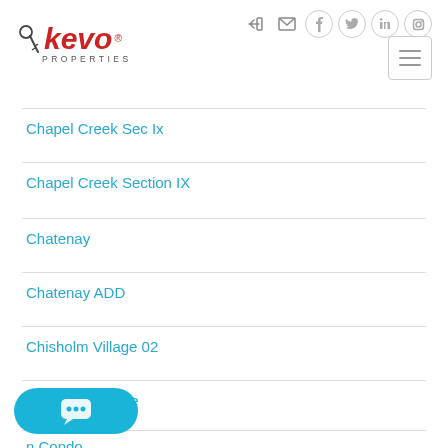[Figure (logo): Kevo Properties logo with key icon]
Chapel Creek Sec Ix
Chapel Creek Section IX
Chatenay
Chatenay ADD
Chisholm Village 02
Clarks Lakeridge
n Condo